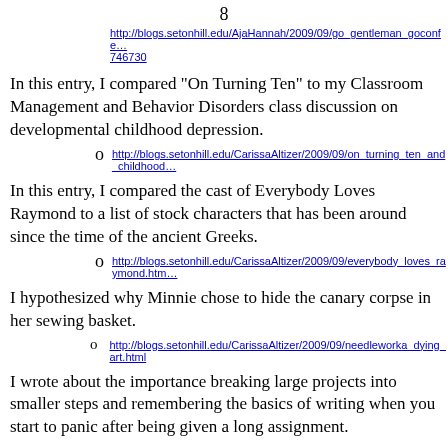8
http://blogs.setonhill.edu/AjaHannah/2009/09/go_gentleman_goconfe…746730
In this entry, I compared "On Turning Ten" to my Classroom Management and Behavior Disorders class discussion on developmental childhood depression.
o  http://blogs.setonhill.edu/CarissaAltizer/2009/09/on_turning_ten_and_childhood…
In this entry, I compared the cast of Everybody Loves Raymond to a list of stock characters that has been around since the time of the ancient Greeks.
o  http://blogs.setonhill.edu/CarissaAltizer/2009/09/everybody_loves_raymond.htm…
I hypothesized why Minnie chose to hide the canary corpse in her sewing basket.
o  http://blogs.setonhill.edu/CarissaAltizer/2009/09/needleworka_dying_art.html
I wrote about the importance breaking large projects into smaller steps and remembering the basics of writing when you start to panic after being given a long assignment.
o